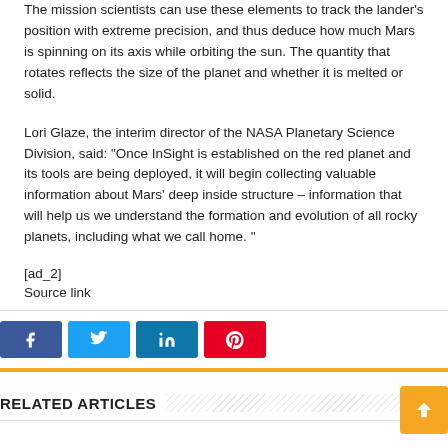The mission scientists can use these elements to track the lander's position with extreme precision, and thus deduce how much Mars is spinning on its axis while orbiting the sun. The quantity that rotates reflects the size of the planet and whether it is melted or solid.
Lori Glaze, the interim director of the NASA Planetary Science Division, said: "Once InSight is established on the red planet and its tools are being deployed, it will begin collecting valuable information about Mars' deep inside structure – information that will help us we understand the formation and evolution of all rocky planets, including what we call home. "
[ad_2]
Source link
[Figure (other): Social media share buttons: Facebook (blue), Twitter (light blue), LinkedIn (blue), Pinterest (red)]
RELATED ARTICLES